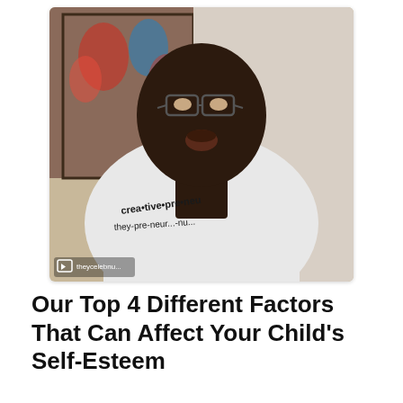[Figure (photo): Video screenshot of a Black man wearing glasses and a white t-shirt with 'creative•pre•neur' printed on it. He is speaking/talking with his mouth open. Behind him is a framed sports poster on the wall. An Instagram/video player icon and partial username 'theycelebnu...' are visible in the bottom-left corner of the video frame.]
Our Top 4 Different Factors That Can Affect Your Child's Self-Esteem